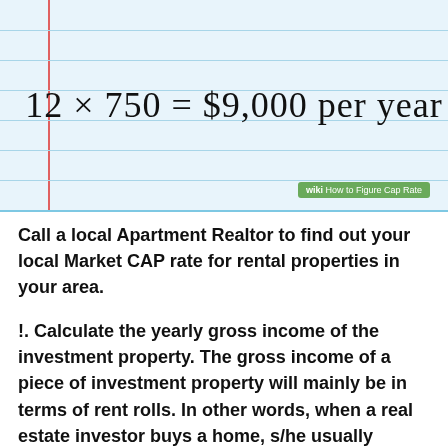[Figure (illustration): Notebook-style illustration showing the equation '12 × 750 = $9,000 per year' handwritten on lined paper with a red margin line, and a wikihow watermark badge in the bottom right corner.]
Call a local Apartment Realtor to find out your local Market CAP rate for rental properties in your area.
!. Calculate the yearly gross income of the investment property. The gross income of a piece of investment property will mainly be in terms of rent rolls. In other words, when a real estate investor buys a home, s/he usually makes money from it primarily by renting it out to tenants.[3] However, this isn't the sole possible source of income — it may also come from other sources.